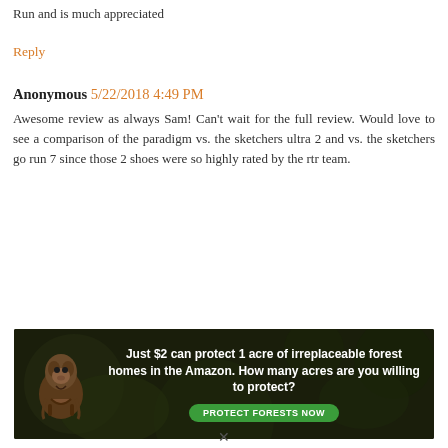Run and is much appreciated
Reply
Anonymous 5/22/2018 4:49 PM
Awesome review as always Sam! Can't wait for the full review. Would love to see a comparison of the paradigm vs. the sketchers ultra 2 and vs. the sketchers go run 7 since those 2 shoes were so highly rated by the rtr team.
[Figure (other): Advertisement banner: 'Just $2 can protect 1 acre of irreplaceable forest homes in the Amazon. How many acres are you willing to protect?' with a green PROTECT FORESTS NOW button and an image of an animal in a forest background.]